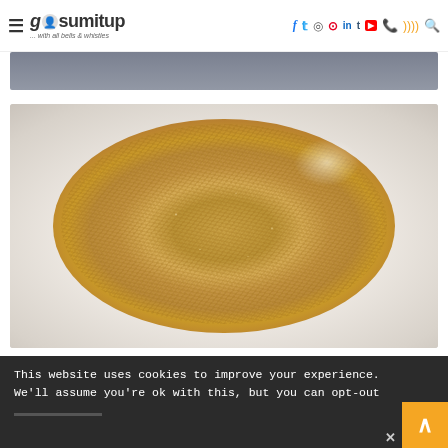gosumitup ... with all bells & whistles — navigation with social icons: facebook, twitter, instagram, pinterest, linkedin, tumblr, youtube, whatsapp, rss, search
[Figure (photo): Partial view of a cropped header image with grey/blue-grey background]
[Figure (photo): Close-up photo of sesame seeds piled on a white round plate, showing golden-tan colored sesame seeds with a highlight on the upper right]
This website uses cookies to improve your experience. We'll assume you're ok with this, but you can opt-out
x (close button)